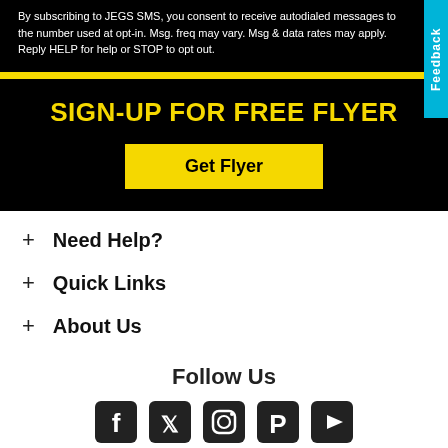By subscribing to JEGS SMS, you consent to receive autodialed messages to the number used at opt-in. Msg. freq may vary. Msg & data rates may apply. Reply HELP for help or STOP to opt out.
SIGN-UP FOR FREE FLYER
Get Flyer
Need Help?
Quick Links
About Us
Follow Us
[Figure (other): Social media icons: Facebook, Twitter, Instagram, Pinterest, YouTube]